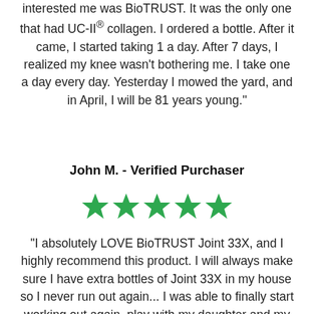interested me was BioTRUST. It was the only one that had UC-II® collagen. I ordered a bottle. After it came, I started taking 1 a day. After 7 days, I realized my knee wasn't bothering me. I take one a day every day. Yesterday I mowed the yard, and in April, I will be 81 years young."
John M. - Verified Purchaser
[Figure (other): Five green star rating icons]
"I absolutely LOVE BioTRUST Joint 33X, and I highly recommend this product. I will always make sure I have extra bottles of Joint 33X in my house so I never run out again... I was able to finally start working out again, play with my daughter and my doggies again, and not have any discomfort. This product is amazing, and I highly recommend this